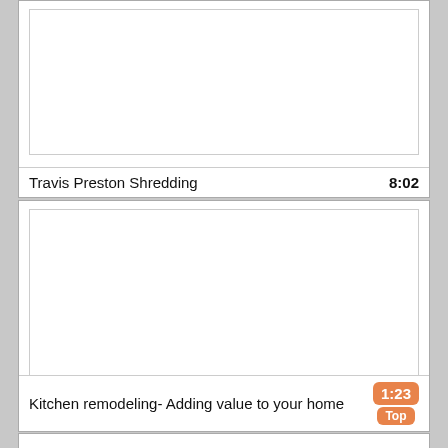[Figure (screenshot): Video thumbnail placeholder - white rectangle for Travis Preston Shredding]
Travis Preston Shredding
8:02
[Figure (screenshot): Video thumbnail placeholder - white rectangle for Kitchen remodeling- Adding value to your home]
Kitchen remodeling- Adding value to your home
1:23
Top